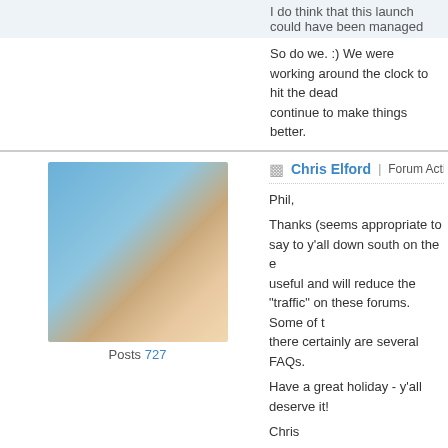I do think that this launch could have been managed
So do we. :) We were working around the clock to hit the deadline and continue to make things better.
Chris Elford | Forum Activity | Replied: Wed, Nov 25 2009 10:40 PM
[Figure (photo): Avatar photo of Chris Elford, man with glasses outdoors with mountain/lake background]
Posts 727
Phil,

Thanks (seems appropriate to say to y'all down south on the eve of Thanksgiving). I think the FAQ will be useful and will reduce the "traffic" on these forums. Some of the questions definitely indicate there certainly are several FAQs.

Have a great holiday - y'all deserve it!

Chris
LaRosa Johnson | Forum Activity | Replied: Wed, Nov 25 2009 10:
[Figure (photo): Avatar photo of LaRosa Johnson, man wearing a hat and glasses, smiling]
Posts 596
Phil Gons: My Logos 4 folder has 88GBs of data in it, but that's
I'm jealous 🙂 LOL
Urban Scholar - http://urban-scholar.com
Christ-centered Hip-Hop - http://www.sphereofhiphop.com